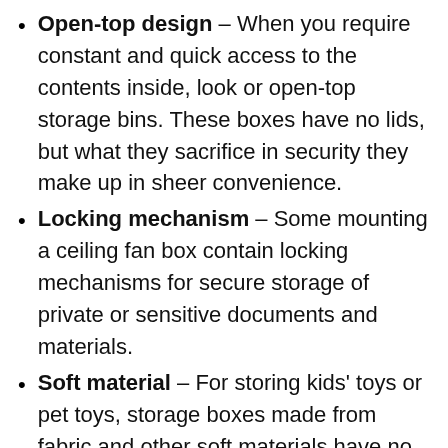Open-top design – When you require constant and quick access to the contents inside, look or open-top storage bins. These boxes have no lids, but what they sacrifice in security they make up in sheer convenience.
Locking mechanism – Some mounting a ceiling fan box contain locking mechanisms for secure storage of private or sensitive documents and materials.
Soft material – For storing kids' toys or pet toys, storage boxes made from fabric and other soft materials have no hard or sharp edges.
Airtight lid – Airtight options are great for keeping contents from oxidizing, from old documents or belongings to…